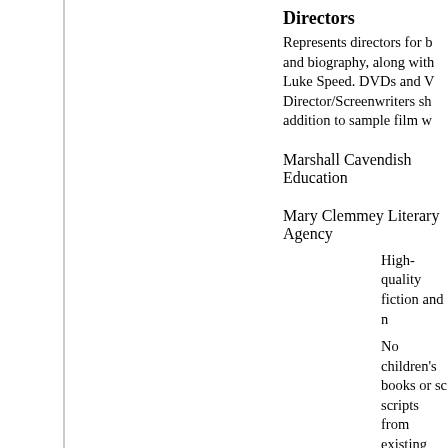Directors
Represents directors for b and biography, along with Luke Speed. DVDs and V Director/Screenwriters sh addition to sample film w
Marshall Cavendish Education
Mary Clemmey Literary Agency
High-quality fiction and n
No children's books or sc scripts from existing clien agent.
No unsolicited MSS and l letter (including sae).
US clients include Freder Franklin Associates Ltd, T Fidel Agency Inc. and Be
Mary Evans Picture Library
This well-regarded library anniversary and speciali